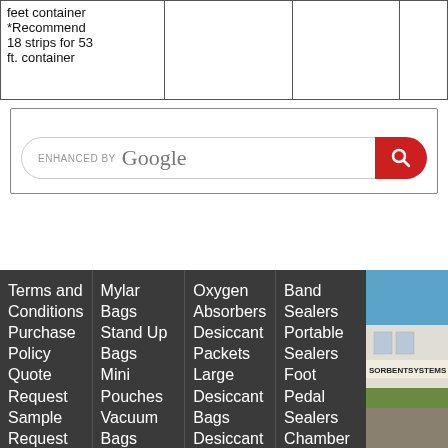|  |  |  |  |
| --- | --- | --- | --- |
| feet container *Recommend 18 strips for 53 ft. container |  |  |  |
Didn't Find What You Were Looking For?
[Figure (other): Enhanced by Google search bar with red search button]
Terms and Conditions
Purchase Policy
Quote Request
Sample Request
Will Call
Custom
Mylar Bags
Stand Up Bags
Mini Pouches
Vacuum Bags
Embossed Vacuum
Oxygen Absorbers
Desiccant Packets
Large Desiccant Bags
Desiccant paper
Bulk
Band Sealers
Portable Sealers
Foot Pedal Sealers
Chamber Sealers
Impulse
[Figure (photo): Sorbent Systems building exterior photo with blue sky]